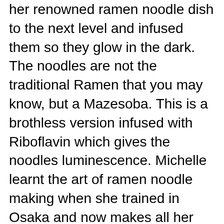her renowned ramen noodle dish to the next level and infused them so they glow in the dark. The noodles are not the traditional Ramen that you may know, but a Mazesoba. This is a brothless version infused with Riboflavin which gives the noodles luminescence. Michelle learnt the art of ramen noodle making when she trained in Osaka and now makes all her noodles in-house at her restaurant IIKO Mazesoba which is Australia's first Mazesoba restaurant serving specialty ramen in Darling Square. Find out more here.
What to drink: There is no point eating Japanese cuisine if you aren't pairing it with Sake.
What to eat: Obviously the main attraction is the glow in the dark noodles!